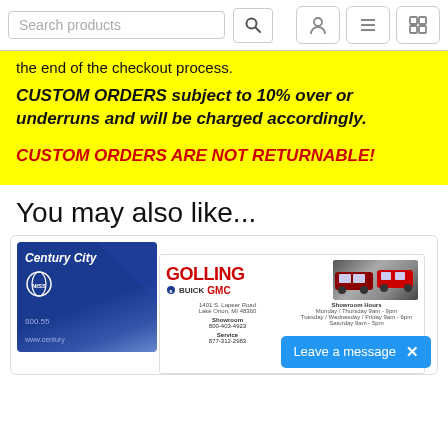Search products
the end of the checkout process.
CUSTOM ORDERS subject to 10% over or underruns and will be charged accordingly.
CUSTOM ORDERS ARE NOT RETURNABLE!
You may also like...
[Figure (photo): Product thumbnails showing Century City Nissan business card and Golling Buick GMC business card]
Leave a message X